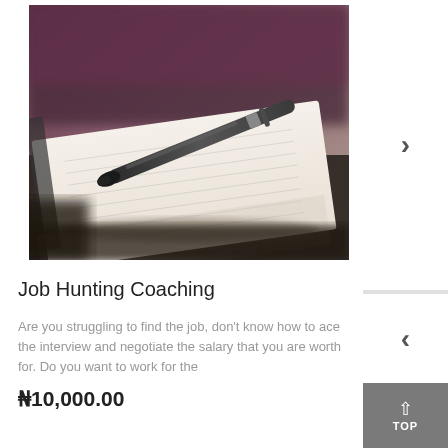[Figure (photo): Close-up photo of a notebook and pen on a dark surface, with a blurred purple/dark background. The pen is resting on top of the open notebook pages.]
Job Hunting Coaching
Are you struggling to find the job, don't know how to ace the interview and negotiate the salary that you are worth for. Do you want to work for the
₦10,000.00